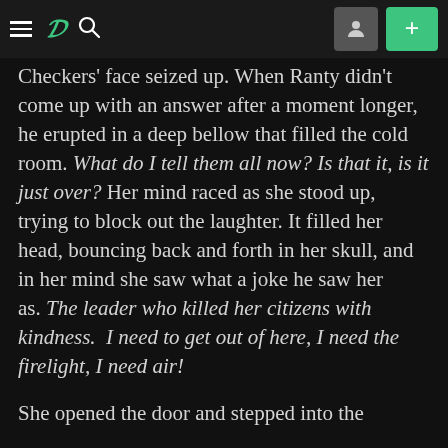[DeviantArt navigation bar with hamburger menu, DA logo, search icon, user icon, and plus button]
Checkers' face seized up. When Ranty didn't come up with an answer after a moment longer, he erupted in a deep bellow that filled the cold room. What do I tell them all now? Is that it, is it just over? Her mind raced as she stood up, trying to block out the laughter. It filled her head, bouncing back and forth in her skull, and in her mind she saw what a joke he saw her as. The leader who killed her citizens with kindness. I need to get out of here, I need the firelight, I need air!
She opened the door and stepped into the